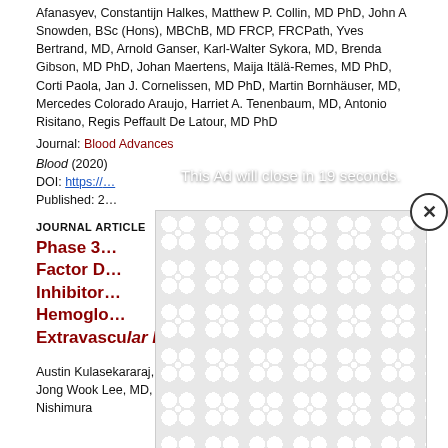Afanasyev, Constantijn Halkes, Matthew P. Collin, MD PhD, John A Snowden, BSc (Hons), MBChB, MD FRCP, FRCPath, Yves Bertrand, MD, Arnold Ganser, Karl-Walter Sykora, MD, Brenda Gibson, MD PhD, Johan Maertens, Maija Itälä-Remes, MD PhD, Corti Paola, Jan J. Cornelissen, MD PhD, Martin Bornhäuser, MD, Mercedes Colorado Araujo, Harriet A. Tenenbaum, MD, Antonio Risitano, Regis Peffault De Latour, MD PhD
Journal: Blood Advances
Blood (2020)
DOI: https://...
Published: 2...
JOURNAL ARTICLE
Phase 3 ... ment Factor D... Inhibitor ... al Hemoglobin ... Extravascular Hemolysis
Austin Kulasekararaj, MDMBBS,MRCP,FRCPath, Antonio Risitano, Jong Wook Lee, MD, PhD, Mingjun Huang, PhD, Jun-Ichi Nishimura
[Figure (screenshot): Ad overlay with countdown: 'This Ad will close in 19 seconds.' and a close button (X circle) in the top right. Ad background shows a repeating white blob/molecule pattern on light grey.]